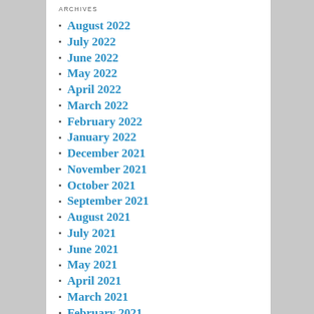ARCHIVES
August 2022
July 2022
June 2022
May 2022
April 2022
March 2022
February 2022
January 2022
December 2021
November 2021
October 2021
September 2021
August 2021
July 2021
June 2021
May 2021
April 2021
March 2021
February 2021
January 2021
December 2020